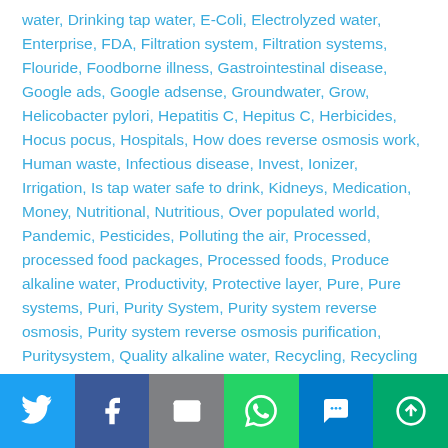water, Drinking tap water, E-Coli, Electrolyzed water, Enterprise, FDA, Filtration system, Filtration systems, Flouride, Foodborne illness, Gastrointestinal disease, Google ads, Google adsense, Groundwater, Grow, Helicobacter pylori, Hepatitis C, Hepitus C, Herbicides, Hocus pocus, Hospitals, How does reverse osmosis work, Human waste, Infectious disease, Invest, Ionizer, Irrigation, Is tap water safe to drink, Kidneys, Medication, Money, Nutritional, Nutritious, Over populated world, Pandemic, Pesticides, Polluting the air, Processed, processed food packages, Processed foods, Produce alkaline water, Productivity, Protective layer, Pure, Pure systems, Puri, Purity System, Purity system reverse osmosis, Purity system reverse osmosis purification, Puritysystem, Quality alkaline water, Recycling, Recycling sewage water, Reverse osmosis, Reverse osmosis filtration systems, Reverse osmosis purification sysetms, Reverse osmosis purifiers, Reverse osmosis system, Reverse osmosis systems, Reverse
[Figure (infographic): Social sharing bar with icons for Twitter, Facebook, Email, WhatsApp, SMS, and More]